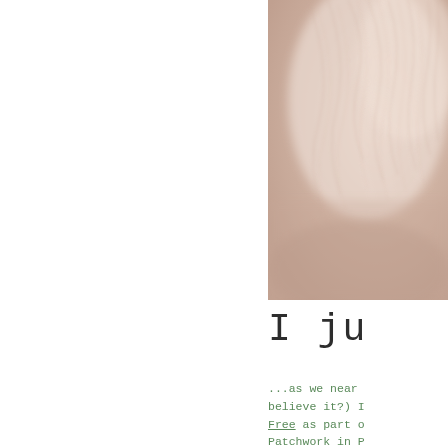[Figure (photo): Close-up macro photograph of soft, light-colored animal fur or fleece, blurred bokeh texture, cream and peach tones, occupying the right portion of the page from top down.]
I ju
...as we near believe it?) I Free as part of Patchwork in P